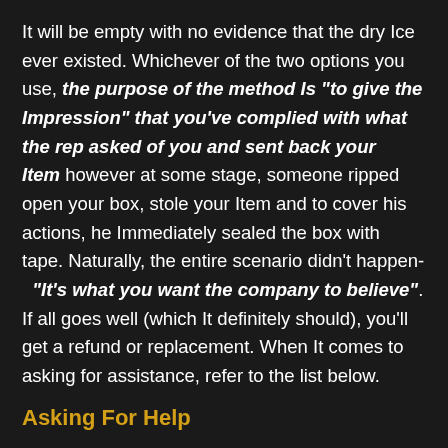It will be empty with no evidence that the dry Ice ever existed. Whichever of the two options you use, the purpose of the method Is "to give the Impression" that you've complied with what the rep asked of you and sent back your Item however at some stage, someone ripped open your box, stole your Item and to cover his actions, he Immediately sealed the box with tape. Naturally, the entire scenario didn't happen- "It's what you want the company to believe". If all goes well (which It definitely should), you'll get a refund or replacement. When It comes to asking for assistance, refer to the list below.
Asking For Help